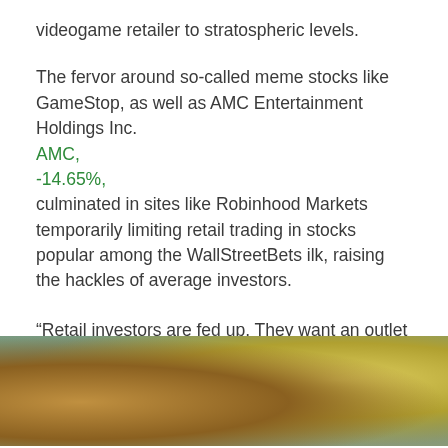videogame retailer to stratospheric levels.
The fervor around so-called meme stocks like GameStop, as well as AMC Entertainment Holdings Inc.
AMC,
-14.65%,
culminated in sites like Robinhood Markets temporarily limiting retail trading in stocks popular among the WallStreetBets ilk, raising the hackles of average investors.
“Retail investors are fed up. They want an outlet to send an unfiltered message to the world.”
[Figure (photo): Outdoor photograph showing blurred background with warm tones on the left and yellow-green foliage on the right, partial view of a structure]